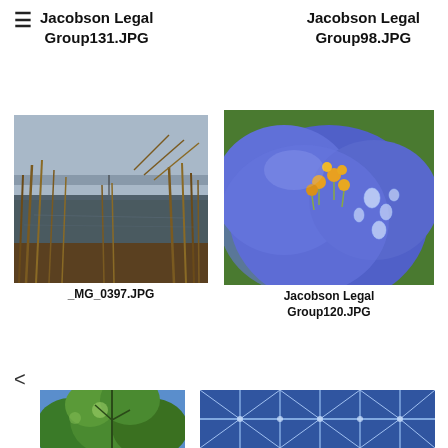≡  Jacobson Legal Group131.JPG     Jacobson Legal Group98.JPG
[Figure (photo): Aerial/ground view of a wetland marsh with brown reeds and water, overcast sky, labeled _MG_0397.JPG]
_MG_0397.JPG
[Figure (photo): Close-up macro photograph of a purple/blue flower with yellow stamens and water droplets on petals, labeled Jacobson Legal Group120.JPG]
Jacobson Legal Group120.JPG
[Figure (photo): Partial view of trees with green foliage looking upward (bottom-left, cropped)]
[Figure (photo): Close-up of blue crystalline or frost-like pattern (bottom-right, cropped)]